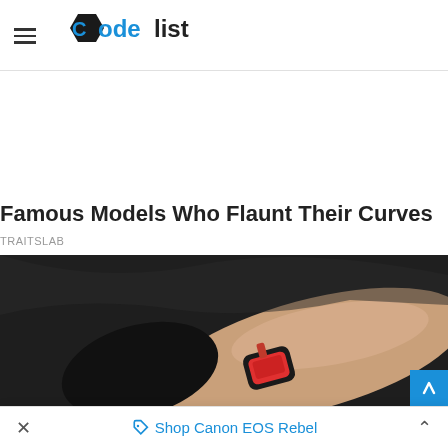CodeList
Famous Models Who Flaunt Their Curves
TRAITSLAB
[Figure (photo): A person wearing a smartwatch/wearable device on their wrist, photographed against a dark background with automotive interior elements visible. The watch has a colorful display.]
Shop Canon EOS Rebel